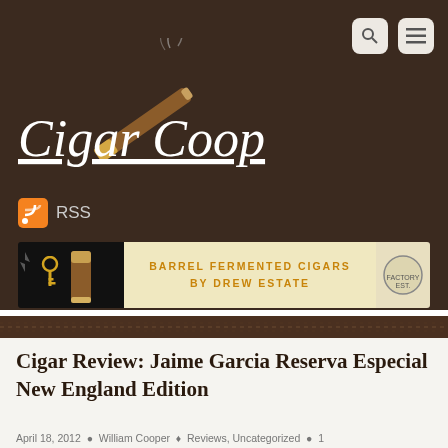[Figure (logo): Cigar Coop website logo with cursive text and illustrated cigar graphic on dark brown background]
RSS
[Figure (illustration): Advertisement banner: Barrel Fermented Cigars by Drew Estate]
Cigar Review: Jaime Garcia Reserva Especial New England Edition
April 18, 2012  William Cooper  Reviews, Uncategorized  1